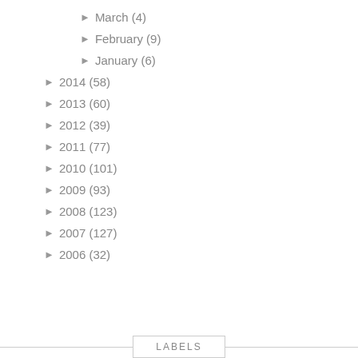► March (4)
► February (9)
► January (6)
► 2014 (58)
► 2013 (60)
► 2012 (39)
► 2011 (77)
► 2010 (101)
► 2009 (93)
► 2008 (123)
► 2007 (127)
► 2006 (32)
LABELS